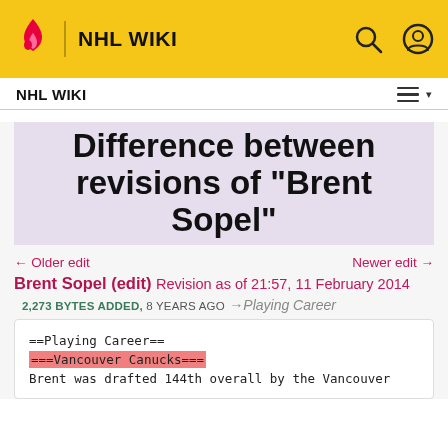NHL WIKI
Difference between revisions of "Brent Sopel"
← Older edit
Newer edit →
Brent Sopel (edit)
Revision as of 21:57, 11 February 2014
2,273 BYTES ADDED,  8 YEARS AGO
→Playing Career
==Playing Career==
===Vancouver Canucks===
Brent was drafted 144th overall by the Vancouver